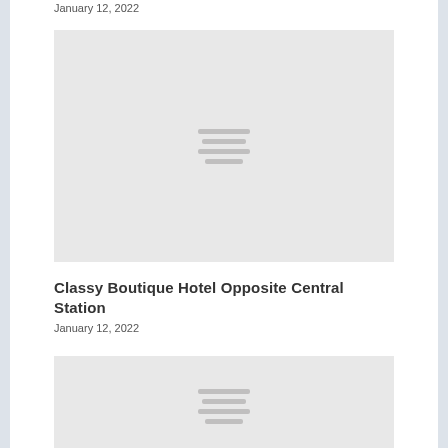January 12, 2022
[Figure (photo): Gray placeholder image with loading lines icon]
Classy Boutique Hotel Opposite Central Station
January 12, 2022
[Figure (photo): Gray placeholder image with loading lines icon]